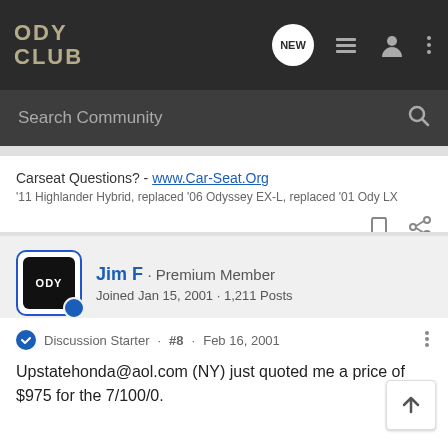ODY CLUB
Search Community
Carseat Questions? - www.Car-Seat.Org
'11 Highlander Hybrid, replaced '06 Odyssey EX-L, replaced '01 Ody LX
Jim F · Premium Member
Joined Jan 15, 2001 · 1,211 Posts
Discussion Starter · #8 · Feb 16, 2001
Upstatehonda@aol.com (NY) just quoted me a price of $975 for the 7/100/0.